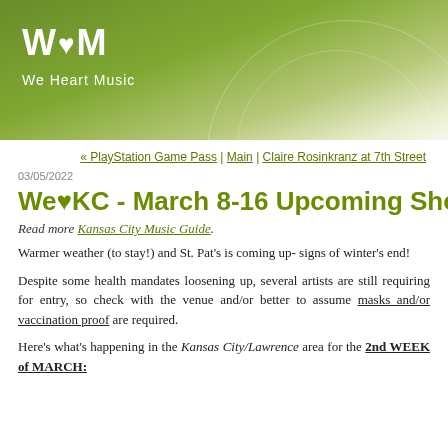[Figure (logo): We Heart Music logo with W♥M text and 'We Heart Music' subtitle on green gradient banner]
« PlayStation Game Pass | Main | Claire Rosinkranz at 7th Street
03/05/2022
We♥KC - March 8-16 Upcoming Shows (Kans
Read more Kansas City Music Guide.
Warmer weather (to stay!) and St. Pat's is coming up- signs of winter's end!
Despite some health mandates loosening up, several artists are still requiring for entry, so check with the venue and/or better to assume masks and/or vaccination proof are required.
Here's what's happening in the Kansas City/Lawrence area for the 2nd WEEK of MARCH: